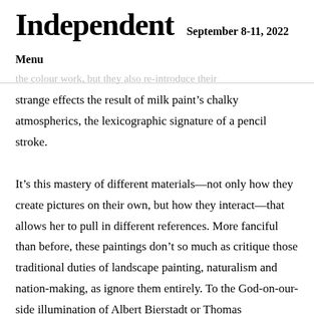Independent  September 8-11, 2022
Menu
strange effects the result of milk paint’s chalky atmospherics, the lexicographic signature of a pencil stroke.
It’s this mastery of different materials—not only how they create pictures on their own, but how they interact—that allows her to pull in different references. More fanciful than before, these paintings don’t so much as critique those traditional duties of landscape painting, naturalism and nation-making, as ignore them entirely. To the God-on-our-side illumination of Albert Bierstadt or Thomas